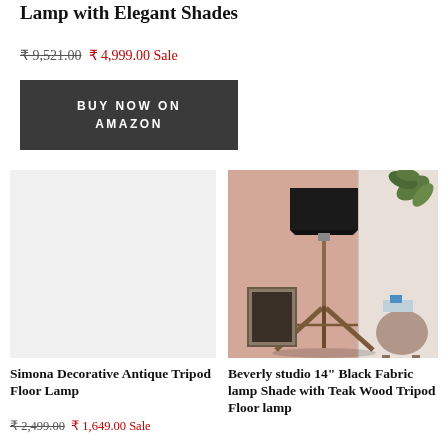Lamp with Elegant Shades
₹ 9,521.00  ₹ 4,999.00 Sale
BUY NOW ON AMAZON
[Figure (photo): Empty light gray product image placeholder for Simona Decorative Antique Tripod Floor Lamp]
Simona Decorative Antique Tripod Floor Lamp
₹ 2,499.00  ₹ 1,649.00 Sale
[Figure (photo): Tripod floor lamp with black fabric shade and teak wood legs against peach/salmon colored wall with plant and side table]
Beverly studio 14" Black Fabric lamp Shade with Teak Wood Tripod Floor lamp